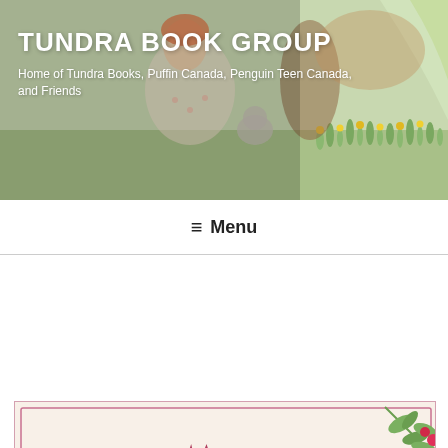TUNDRA BOOK GROUP
Home of Tundra Books, Puffin Canada, Penguin Teen Canada, and Friends
≡ Menu
TAG: NIBBLES THE MONSTER HUNT
DECEMBER 1, 2021
Tundra Illustrator Gift Guide 2021
[Figure (illustration): Tundra Illustrator Gift Guide 2021 promotional image with tundra moose logo and the word ILLUSTRATOR in red serif text, with green holly branch decoration on cream background]